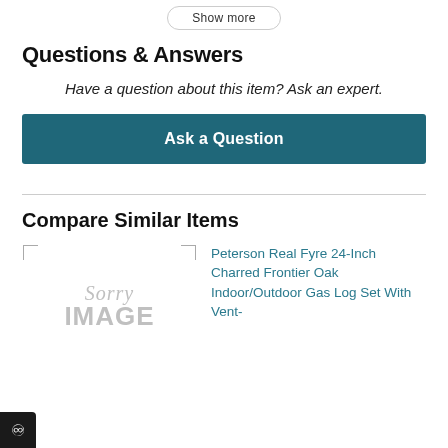Questions & Answers
Have a question about this item? Ask an expert.
Ask a Question
Compare Similar Items
[Figure (illustration): Sorry IMAGE placeholder for a product image that failed to load]
Peterson Real Fyre 24-Inch Charred Frontier Oak Indoor/Outdoor Gas Log Set With Vent-